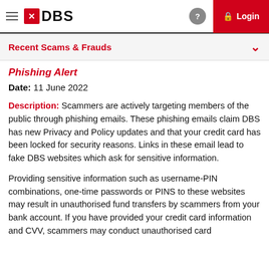DBS — Login
Recent Scams & Frauds
Phishing Alert
Date: 11 June 2022
Description: Scammers are actively targeting members of the public through phishing emails. These phishing emails claim DBS has new Privacy and Policy updates and that your credit card has been locked for security reasons. Links in these email lead to fake DBS websites which ask for sensitive information.
Providing sensitive information such as username-PIN combinations, one-time passwords or PINS to these websites may result in unauthorised fund transfers by scammers from your bank account. If you have provided your credit card information and CVV, scammers may conduct unauthorised card